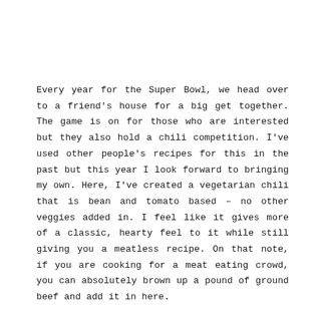Every year for the Super Bowl, we head over to a friend's house for a big get together. The game is on for those who are interested but they also hold a chili competition. I've used other people's recipes for this in the past but this year I look forward to bringing my own. Here, I've created a vegetarian chili that is bean and tomato based – no other veggies added in. I feel like it gives more of a classic, hearty feel to it while still giving you a meatless recipe. On that note, if you are cooking for a meat eating crowd, you can absolutely brown up a pound of ground beef and add it in here.